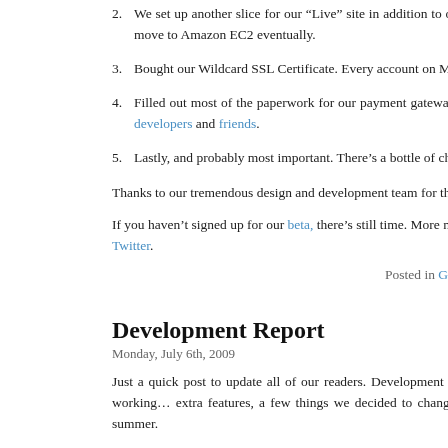2. We set up another slice for our “Live” site in addition to our “Pro” slice. We’re going to be hosting the application on Slicehost initially but might move to Amazon EC2 eventually.
3. Bought our Wildcard SSL Certificate. Every account on Minuteglass, even our free plan customers will be able to use SSL.
4. Filled out most of the paperwork for our payment gateway. We’re signing with Braintree Payment Solutions. We have heard nothing but good things from developers and friends.
5. Lastly, and probably most important. There’s a bottle of champagne in the fridge waiting for launch.
Thanks to our tremendous design and development team for their great work.
If you haven’t signed up for our beta, there’s still time. More news as it happens on Twitter.
Posted in General | No Comments »
Development Report
Monday, July 6th, 2009
Just a quick post to update all of our readers. Development has been continuing at a steady clip, and we have most of the core functionality built. We’re working on some extra features, a few things we decided to change at the last moment, and we’re working on our promotional site. Stay tuned for the beta this summer.